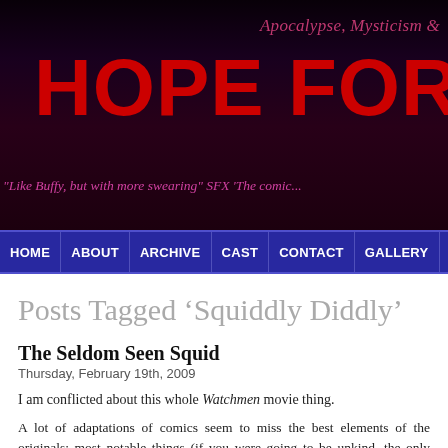[Figure (screenshot): Website header banner with dark purple/black gradient background. Title reads 'Apocalypse, Mysticism &' in pink/mauve, 'HOPE FOR THE' in large bold red uppercase, tagline in pink italic text below.]
HOME | ABOUT | ARCHIVE | CAST | CONTACT | GALLERY | SHOP | TRAIL...
Posts Tagged ‘Squiddly Diddly’
The Seldom Seen Squid
Thursday, February 19th, 2009
I am conflicted about this whole Watchmen movie thing.
A lot of adaptations of comics seem to miss the best elements of the originals: most notable things (if you were going to be unkind, the only notable thing) Miller’s Sin City was the histrionic chiaroscuro of the artwork, which is of course you don’t get carried over into the film version. It just ends up as a bunch of a grey tones. The characters and stories weren’t much cop to begin with, which i bothered watching it. Similarly The Spirit was all about Will Eisner’s quirky